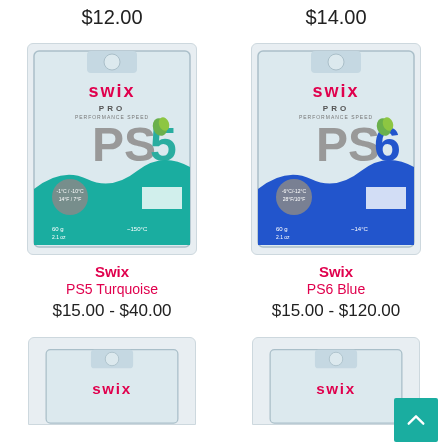$12.00
$14.00
[Figure (photo): Swix PS5 Turquoise ski wax product box]
Swix
PS5 Turquoise
$15.00 - $40.00
[Figure (photo): Swix PS6 Blue ski wax product box]
Swix
PS6 Blue
$15.00 - $120.00
[Figure (photo): Partial view of another Swix product box (bottom of page, left)]
[Figure (photo): Partial view of another Swix product box (bottom of page, right)]